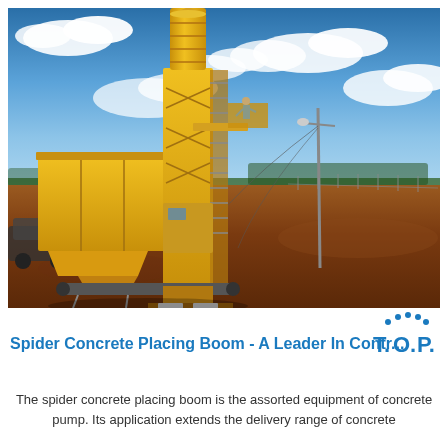[Figure (photo): Photograph of a large yellow concrete batching plant / spider concrete placing boom machine on a red dirt construction site, with a tall cylindrical silo tower, hopper bins, conveyor belt, metal staircases, a utility pole, and a person standing on the platform. Blue sky with scattered white clouds in the background, trees on the horizon.]
[Figure (logo): T.O.P. company logo in blue with water droplet dots above the letters]
Spider Concrete Placing Boom - A Leader In Contr...
The spider concrete placing boom is the assorted equipment of concrete pump. Its application extends the delivery range of concrete